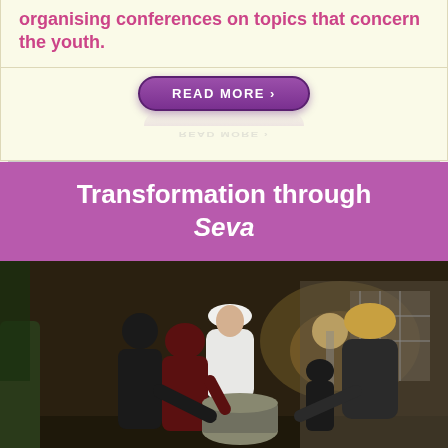organising conferences on topics that concern the youth.
[Figure (other): Purple pill-shaped button with text READ MORE › and its reflection below]
Transformation through Seva
[Figure (photo): Group of people outdoors at night serving food, with a person in white clothes and white hat in the center, others around a large pot]